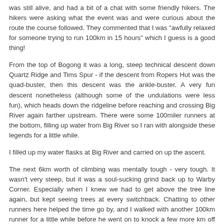was still alive, and had a bit of a chat with some friendly hikers. The hikers were asking what the event was and were curious about the route the course followed. They commented that I was "awfully relaxed for someone trying to run 100km in 15 hours" which I guess is a good thing!
From the top of Bogong it was a long, steep technical descent down Quartz Ridge and Tims Spur - if the descent from Ropers Hut was the quad-buster, then this descent was the ankle-buster. A very fun descent nonetheless (although some of the undulations were less fun), which heads down the ridgeline before reaching and crossing Big River again farther upstream. There were some 100miler runners at the bottom, filling up water from Big River so I ran with alongside these legends for a little while.
I filled up my water flasks at Big River and carried on up the ascent.
The next 6km worth of climbing was mentally tough - very tough. It wasn't very steep, but it was a soul-sucking grind back up to Warby Corner. Especially when I knew we had to get above the tree line again, but kept seeing trees at every switchback. Chatting to other runners here helped the time go by, and I walked with another 100km runner for a little while before he went on to knock a few more km off (and